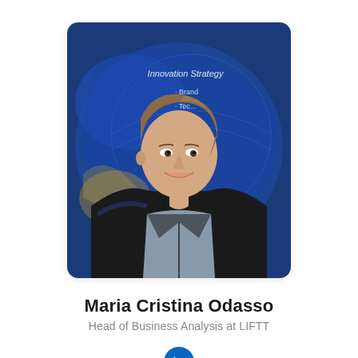[Figure (photo): Professional headshot of Maria Cristina Odasso, a woman with short brown hair wearing a dark blazer and grey top, smiling and looking to the left. Background shows a blue world map/globe presentation with text 'Innovation Strategy', 'Brand', 'Tech', 'Geneva'.]
Maria Cristina Odasso
Head of Business Analysis at LIFTT
[Figure (logo): LinkedIn logo icon — white 'in' on a blue circular background]